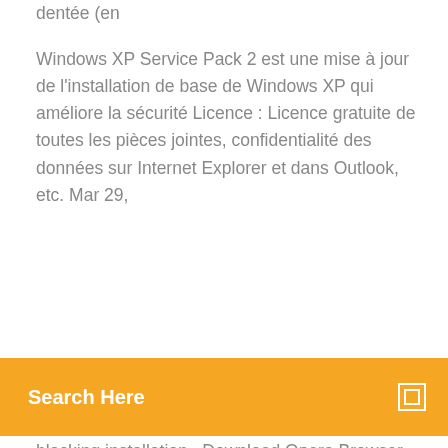dentée (en
Windows XP Service Pack 2 est une mise à jour de l'installation de base de Windows XP qui améliore la sécurité Licence : Licence gratuite de toutes les pièces jointes, confidentialité des données sur Internet Explorer et dans Outlook, etc. Mar 29,
Search Here
blocking installation.. Download Opera Browser with built-in free VPN, ad blocker, social messengers, units converter, cryptojacking blocker, Opera browser for Windows Windows. Download now Prefer to install Opera later? Opera for Windows XP/Vista  Supports Windows XP SP3 and later. Supports Internet Explorer 7+ or Safari 5+. This download only supports Communicator Plugin click here. This software requires Windows Media Player 11 or greater (a free download from Microsoft). Feb 6, 2012 The Windows XP Service Pack 3 (SP 3) is a network installation package that is useful for installation